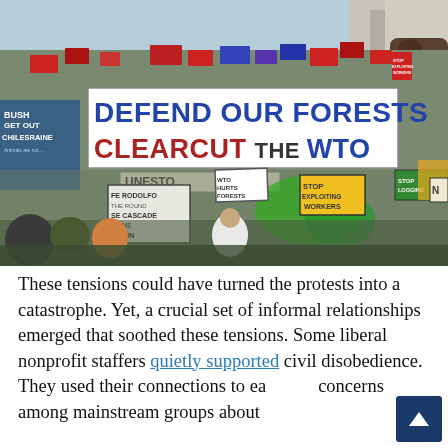[Figure (photo): Protest march photo showing a large crowd carrying signs. The most prominent banner reads 'DEFEND OUR FORESTS / CLEARCUT THE WTO'. Other signs visible include 'BUSH GET OUT CHILESRAINE', 'WTO HURTS FORESTS', 'STOP EXPLOITING WORKERS', 'FE RODOLFO SE CASCADE OF ME HES IN', and various other protest signs. Protesters are wearing green jackets.]
These tensions could have turned the protests into a catastrophe. Yet, a crucial set of informal relationships emerged that soothed these tensions. Some liberal nonprofit staffers quietly supported civil disobedience. They used their connections to ease concerns among mainstream groups about